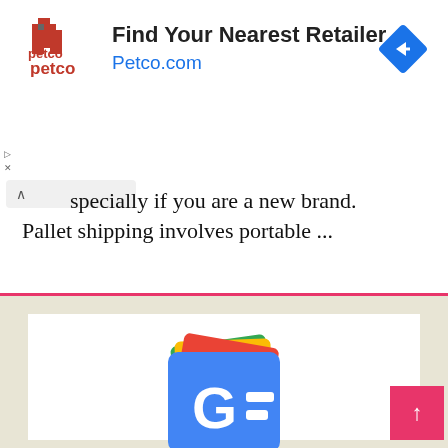[Figure (screenshot): Petco advertisement banner with logo, text 'Find Your Nearest Retailer', 'Petco.com', and a blue navigation icon]
...especially if you are a new brand. Pallet shipping involves portable ...
[Figure (logo): Google News app logo - colorful stacked cards with GE= symbol]
Google News